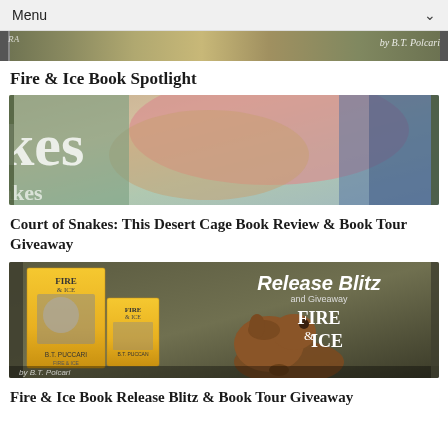Menu
[Figure (photo): Partial banner image showing book cover elements and text 'by B.T. Polcari']
Fire & Ice Book Spotlight
[Figure (photo): Book cover image for Court of Snakes: This Desert Cage showing colorful desert-themed imagery with partial text 'kes' and 'akes']
Court of Snakes: This Desert Cage Book Review & Book Tour Giveaway
[Figure (photo): Release Blitz and Giveaway banner for Fire & Ice by B.T. Polcari featuring book covers on tablet/phone and a dog illustration]
Fire & Ice Book Release Blitz & Book Tour Giveaway